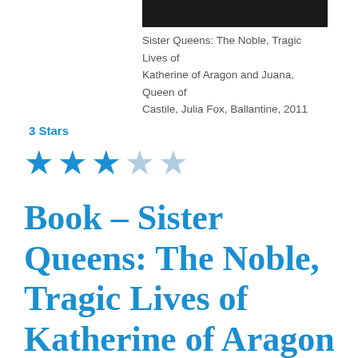[Figure (photo): Partial photo strip at top of page showing a dark image]
Sister Queens: The Noble, Tragic Lives of Katherine of Aragon and Juana, Queen of Castile, Julia Fox, Ballantine, 2011
3 Stars
[Figure (infographic): 3 out of 5 stars rating shown as filled and empty blue stars]
Book – Sister Queens: The Noble, Tragic Lives of Katherine of Aragon and Juana, Queen of Castile